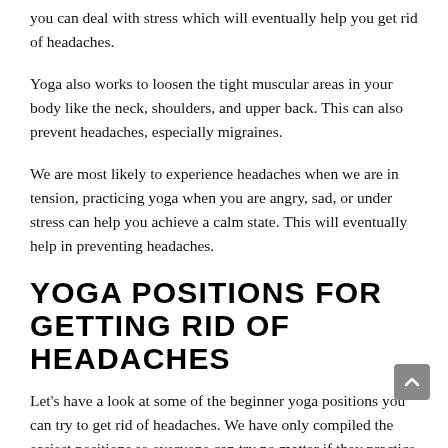you can deal with stress which will eventually help you get rid of headaches.
Yoga also works to loosen the tight muscular areas in your body like the neck, shoulders, and upper back. This can also prevent headaches, especially migraines.
We are most likely to experience headaches when we are in tension, practicing yoga when you are angry, sad, or under stress can help you achieve a calm state. This will eventually help in preventing headaches.
YOGA POSITIONS FOR GETTING RID OF HEADACHES
Let’s have a look at some of the beginner yoga positions you can try to get rid of headaches. We have only compiled the easiest positions so everyone can try no matter if they practice yoga regularly or not. Make sure